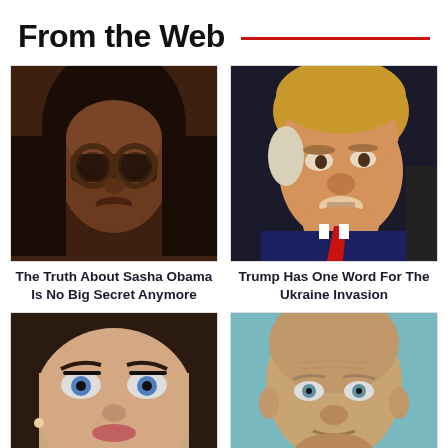From the Web
[Figure (photo): Close-up portrait of a young Black woman with glasses (Sasha Obama)]
The Truth About Sasha Obama Is No Big Secret Anymore
[Figure (photo): Close-up portrait of Donald Trump speaking at a microphone, wearing a red tie]
Trump Has One Word For The Ukraine Invasion
[Figure (photo): Close-up of a woman's face with blue eyes and long lashes]
[Figure (photo): Close-up of a bald man's face against a teal/blue background]